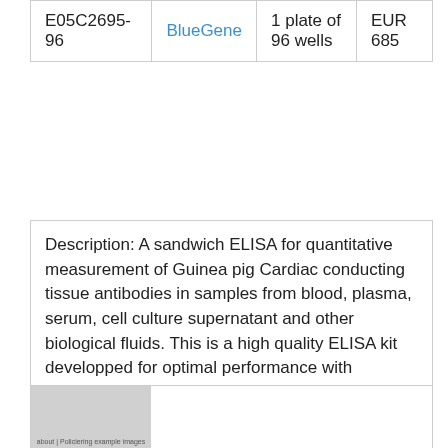| E05C2695-96 | BlueGene | 1 plate of 96 wells | EUR 685 |
Description: A sandwich ELISA for quantitative measurement of Guinea pig Cardiac conducting tissue antibodies in samples from blood, plasma, serum, cell culture supernatant and other biological fluids. This is a high quality ELISA kit developped for optimal performance with samples from the particular species.
[Figure (photo): Thumbnail image with small text caption below, gray background]